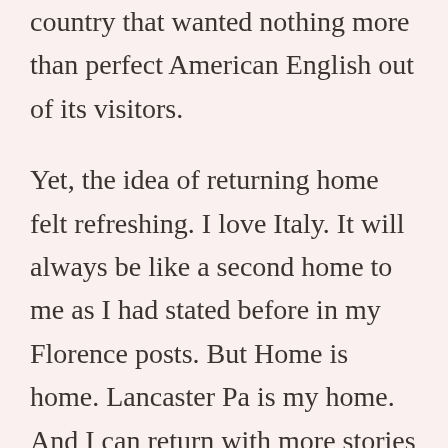country that wanted nothing more than perfect American English out of its visitors.
Yet, the idea of returning home felt refreshing. I love Italy. It will always be like a second home to me as I had stated before in my Florence posts. But Home is home. Lancaster Pa is my home. And I can return with more stories to tell, an enlightened mind